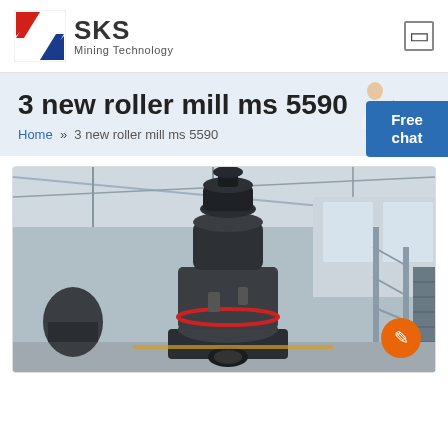[Figure (logo): SKS Mining Technology logo with red and blue angular icon and company name]
3 new roller mill ms 5590
Home » 3 new roller mill ms 5590
[Figure (photo): Industrial roller mill machine (3 new roller mill ms 5590) standing inside a large factory/warehouse hall, with metal scaffolding and trusses visible in the background. A small orange circular chat button is visible in the lower right corner of the image.]